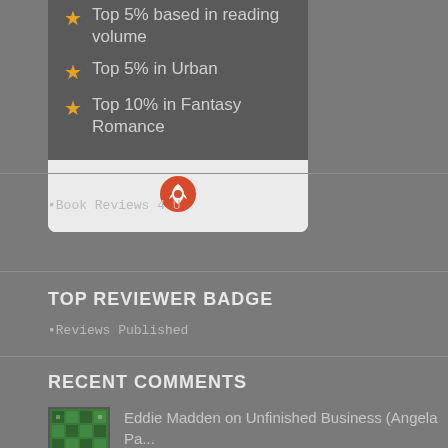Top 5% based in reading volume
Top 5% in Urban
Top 10% in Fantasy Romance
[Figure (logo): Orange rocket/globe icon in light gray footer of card]
[Figure (screenshot): Broken image placeholder showing 'Book Reviews 4 U']
TOP REVIEWER BADGE
[Figure (screenshot): Broken image placeholder showing 'Reviews Published']
RECENT COMMENTS
Eddie Madden on Unfinished Business (Angela Pa...